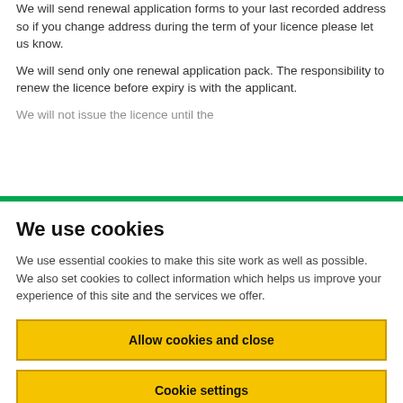We will send renewal application forms to your last recorded address so if you change address during the term of your licence please let us know.
We will send only one renewal application pack. The responsibility to renew the licence before expiry is with the applicant.
We will not issue the licence until the...
We use cookies
We use essential cookies to make this site work as well as possible. We also set cookies to collect information which helps us improve your experience of this site and the services we offer.
Allow cookies and close
Cookie settings